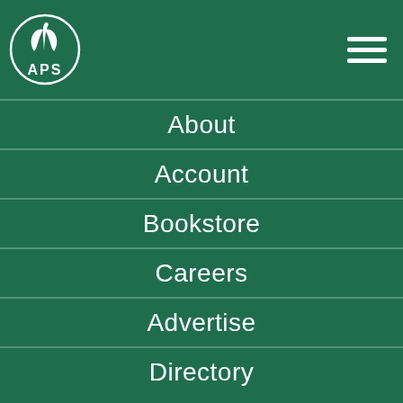[Figure (logo): APS logo with plant/leaf icon inside a circle, white on green]
About
Account
Bookstore
Careers
Advertise
Directory
Events
Code of Conduct